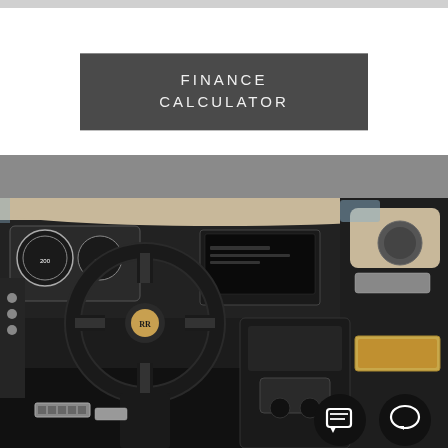[Figure (photo): Gray decorative top bar strip]
FINANCE
CALCULATOR
[Figure (photo): Interior of a luxury car (Rolls-Royce Ghost) showing steering wheel, dashboard, center console, pedals, and passenger side. Dark leather interior with cream/beige accents. Two circular chat/message icon buttons visible in bottom right corner.]